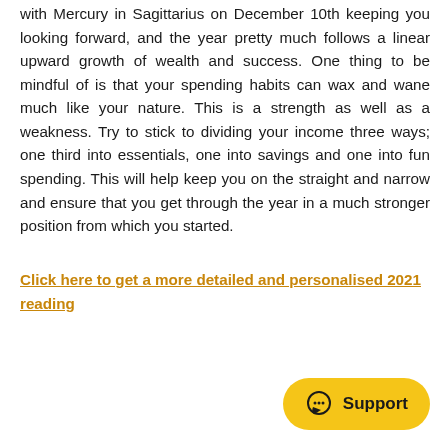with Mercury in Sagittarius on December 10th keeping you looking forward, and the year pretty much follows a linear upward growth of wealth and success. One thing to be mindful of is that your spending habits can wax and wane much like your nature. This is a strength as well as a weakness. Try to stick to dividing your income three ways; one third into essentials, one into savings and one into fun spending. This will help keep you on the straight and narrow and ensure that you get through the year in a much stronger position from which you started.
Click here to get a more detailed and personalised 2021 reading
[Figure (other): Support button with chat bubble icon and yellow rounded rectangle background]